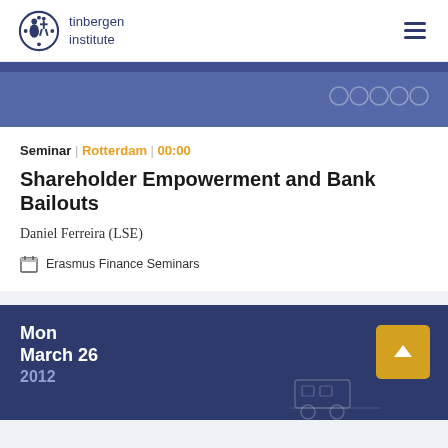tinbergen institute
Seminar | Rotterdam | 00:00
Shareholder Empowerment and Bank Bailouts
Daniel Ferreira (LSE)
Erasmus Finance Seminars
Mon March 26 2012